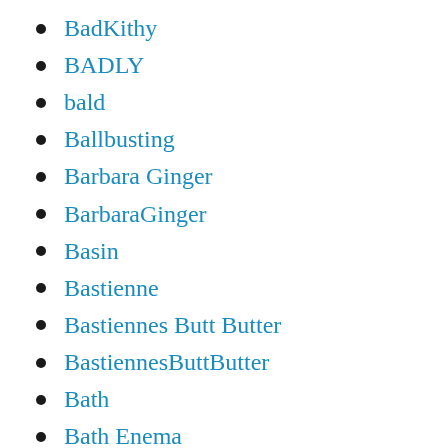BadKithy
BADLY
bald
Ballbusting
Barbara Ginger
BarbaraGinger
Basin
Bastienne
Bastiennes Butt Butter
BastiennesButtButter
Bath
Bath Enema
bathroom
Bathroom Shitting
Bathtub
Baton